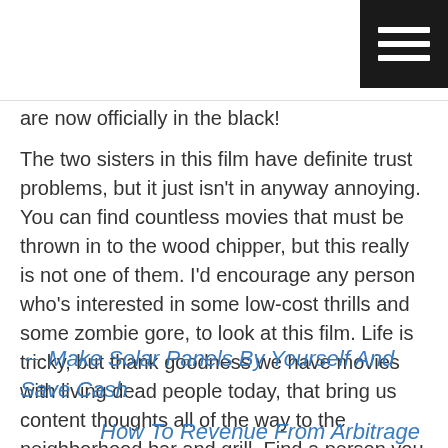[hamburger menu icon]
are now officially in the black!
The two sisters in this film have definite trust problems, but it just isn’t in anyway annoying. You can find countless movies that must be thrown in to the wood chipper, but this really is not one of them. I’d encourage any person who’s interested in some low-cost thrills and some zombie gore, to look at this film. Life is tricky, but thank goodness we have movies with living dead people today, that bring us content thoughts all of the way to the neighborhood bar and grill. Find a person you like and take them to this movie tonight, trust me, you might be glad you did.
← Make Solar Panels By Yourself And Save Cash
How To Revenue From Arbitrage